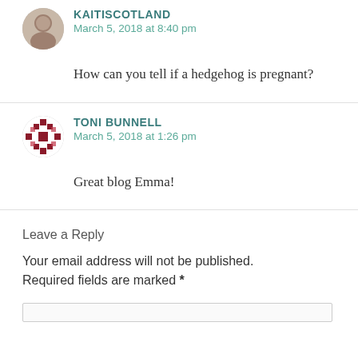KAITISCOTLAND
March 5, 2018 at 8:40 pm
How can you tell if a hedgehog is pregnant?
TONI BUNNELL
March 5, 2018 at 1:26 pm
Great blog Emma!
Leave a Reply
Your email address will not be published. Required fields are marked *